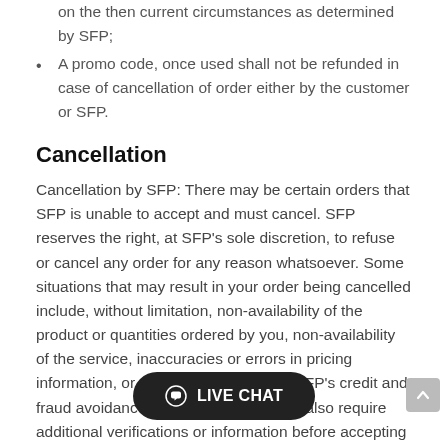days through the online account or via cheque, depending on the then current circumstances as determined by SFP;
A promo code, once used shall not be refunded in case of cancellation of order either by the customer or SFP.
Cancellation
Cancellation by SFP: There may be certain orders that SFP is unable to accept and must cancel. SFP reserves the right, at SFP's sole discretion, to refuse or cancel any order for any reason whatsoever. Some situations that may result in your order being cancelled include, without limitation, non-availability of the product or quantities ordered by you, non-availability of the service, inaccuracies or errors in pricing information, or problems identified by SFP's credit and fraud avoidance department. SFP may also require additional verifications or information before accepting any order. SFP will contact you if all or any portion of your order is cancelled or if additional information is required to accept your order. If